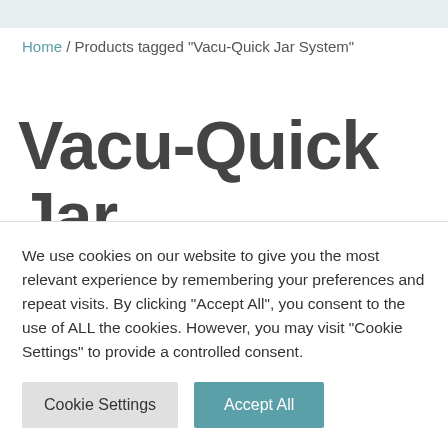Home / Products tagged “Vacu-Quick Jar System”
Vacu-Quick Jar System
We use cookies on our website to give you the most relevant experience by remembering your preferences and repeat visits. By clicking “Accept All”, you consent to the use of ALL the cookies. However, you may visit "Cookie Settings" to provide a controlled consent.